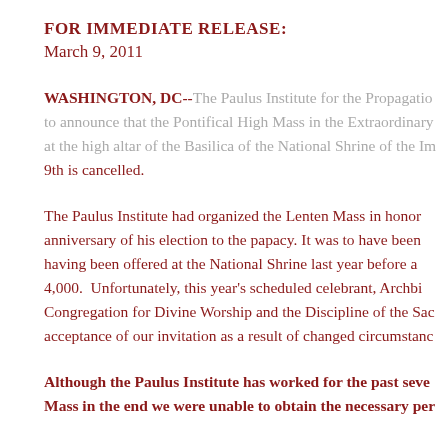FOR IMMEDIATE RELEASE:
March 9, 2011
WASHINGTON, DC--The Paulus Institute for the Propagation to announce that the Pontifical High Mass in the Extraordinary at the high altar of the Basilica of the National Shrine of the Im 9th is cancelled.
The Paulus Institute had organized the Lenten Mass in honor anniversary of his election to the papacy. It was to have been having been offered at the National Shrine last year before a 4,000. Unfortunately, this year's scheduled celebrant, Archbi Congregation for Divine Worship and the Discipline of the Sac acceptance of our invitation as a result of changed circumstance
Although the Paulus Institute has worked for the past seve Mass in the end we were unable to obtain the necessary per